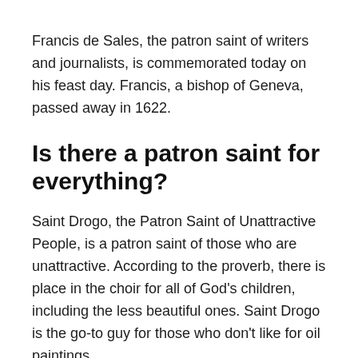Francis de Sales, the patron saint of writers and journalists, is commemorated today on his feast day. Francis, a bishop of Geneva, passed away in 1622.
Is there a patron saint for everything?
Saint Drogo, the Patron Saint of Unattractive People, is a patron saint of those who are unattractive. According to the proverb, there is place in the choir for all of God’s children, including the less beautiful ones. Saint Drogo is the go-to guy for those who don’t like for oil paintings.